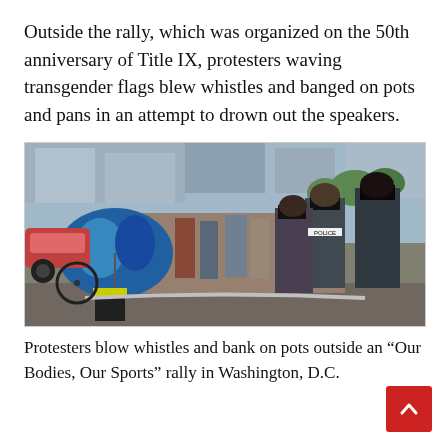Outside the rally, which was organized on the 50th anniversary of Title IX, protesters waving transgender flags blew whistles and banged on pots and pans in an attempt to drown out the speakers.
[Figure (photo): Outdoor scene showing protesters and police officers on a city street. A person holding a large blue umbrella is visible on the left. Several police officers in dark uniforms are visible on the right side.]
Protesters blow whistles and bank on pots outside an “Our Bodies, Our Sports” rally in Washington, D.C.